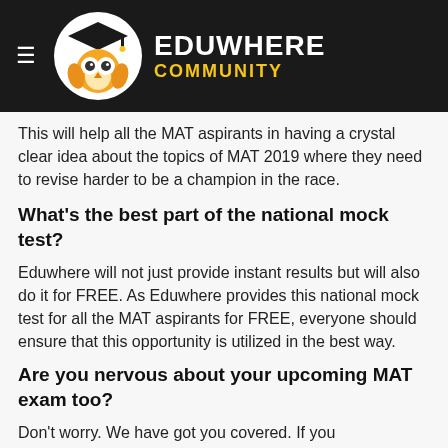EDUWHERE COMMUNITY
This will help all the MAT aspirants in having a crystal clear idea about the topics of MAT 2019 where they need to revise harder to be a champion in the race.
What's the best part of the national mock test?
Eduwhere will not just provide instant results but will also do it for FREE. As Eduwhere provides this national mock test for all the MAT aspirants for FREE, everyone should ensure that this opportunity is utilized in the best way.
Are you nervous about your upcoming MAT exam too?
Don't worry. We have got you covered. If you